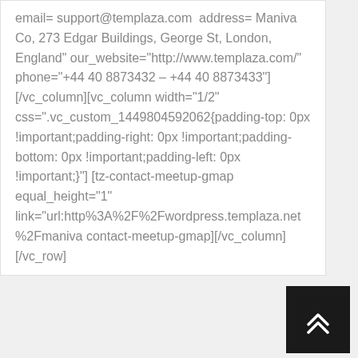email= support@templaza.com address= Maniva Co, 273 Edgar Buildings, George St, London, England" our_website="http://www.templaza.com/" phone="+44 40 8873432 – +44 40 8873433"] [/vc_column][vc_column width="1/2" css=".vc_custom_1449804592062{padding-top: 0px !important;padding-right: 0px !important;padding-bottom: 0px !important;padding-left: 0px !important;}"] [tz-contact-meetup-gmap equal_height="1" link="url:http%3A%2F%2Fwordpress.templaza.net%2Fmaniva contact-meetup-gmap][/vc_column][/vc_row]